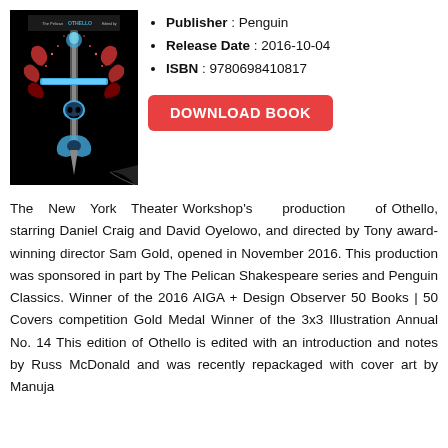[Figure (illustration): Book cover of Othello (Penguin/Pelican Shakespeare edition) with dark background and ornate blue/red cross-sword illustration with decorative flourishes]
Publisher : Penguin
Release Date : 2016-10-04
ISBN : 9780698410817
DOWNLOAD BOOK
The New York Theater Workshop's production of Othello, starring Daniel Craig and David Oyelowo, and directed by Tony award-winning director Sam Gold, opened in November 2016. This production was sponsored in part by The Pelican Shakespeare series and Penguin Classics. Winner of the 2016 AIGA + Design Observer 50 Books | 50 Covers competition Gold Medal Winner of the 3x3 Illustration Annual No. 14 This edition of Othello is edited with an introduction and notes by Russ McDonald and was recently repackaged with cover art by Manuja